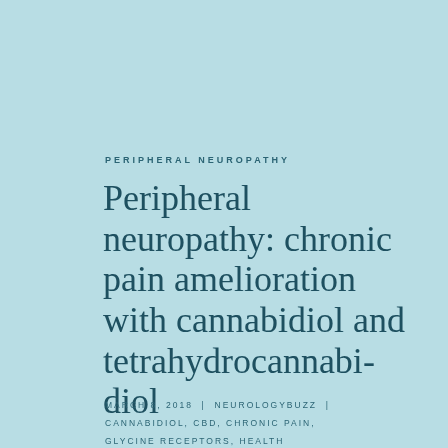PERIPHERAL NEUROPATHY
Peripheral neuropathy: chronic pain amelioration with cannabidiol and tetrahydrocannabidiol
MARCH 8, 2018 | NEUROLOGYBUZZ | CANNABIDIOL, CBD, CHRONIC PAIN, GLYCINE RECEPTORS, HEALTH